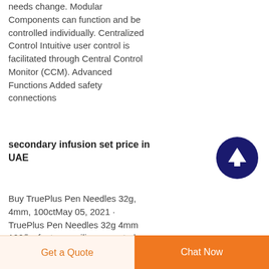needs change. Modular Components can function and be controlled individually. Centralized Control Intuitive user control is facilitated through Central Control Monitor (CCM). Advanced Functions Added safety connections
secondary infusion set price in UAE
[Figure (other): Dark navy circular button with a white upward-pointing arrow icon, used as a scroll-to-top button]
Buy TruePlus Pen Needles 32g, 4mm, 100ctMay 05, 2021 · TruePlus Pen Needles 32g 4mm 100/bx feature a silicone coated needle and thin wall allowing for a smooth
Get a Quote   Chat Now